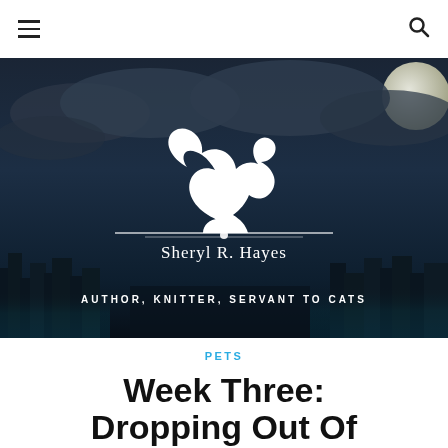Navigation header with hamburger menu and search icon
[Figure (illustration): Dark atmospheric banner image with night sky, clouds, full moon, wolf logo silhouette and city skyline with teal/cyan glow. Text reads 'Sheryl R. Hayes' and tagline 'AUTHOR, KNITTER, SERVANT TO CATS']
PETS
Week Three: Dropping Out Of